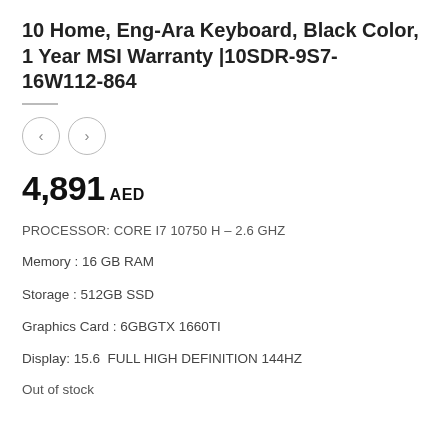10 Home, Eng-Ara Keyboard, Black Color, 1 Year MSI Warranty |10SDR-9S7-16W112-864
[Figure (other): Navigation arrow buttons (left and right) in circular outlines]
4,891 AED
PROCESSOR: CORE i7 10750 H – 2.6 GHZ
Memory : 16 GB RAM
Storage : 512GB SSD
Graphics Card : 6GBGTX 1660TI
Display: 15.6  FULL HIGH DEFINITION 144HZ
Out of stock